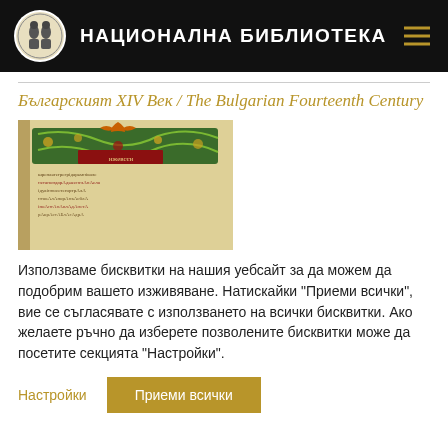НАЦИОНАЛНА БИБЛИОТЕКА
Българският XIV Bек / The Bulgarian Fourteenth Century
[Figure (photo): Photograph of an illuminated medieval Bulgarian manuscript page from the 14th century, showing ornate decorative headband with green and gold scrollwork and red Cyrillic text.]
Използваме бисквитки на нашия уебсайт за да можем да подобрим вашето изживяване. Натискайки "Приеми всички", вие се съгласявате с използването на всички бисквитки. Ако желаете ръчно да изберете позволените бисквитки може да посетите секцията "Настройки".
Настройки
Приеми всички